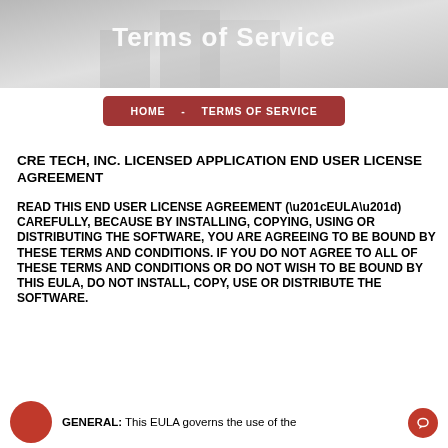[Figure (photo): Header background image showing a building/office interior, grayscale/muted tones with 'Terms of Service' title text overlay in white bold font]
HOME  -  TERMS OF SERVICE
CRE TECH, INC. LICENSED APPLICATION END USER LICENSE AGREEMENT
READ THIS END USER LICENSE AGREEMENT (“EULA”) CAREFULLY, BECAUSE BY INSTALLING, COPYING, USING OR DISTRIBUTING THE SOFTWARE, YOU ARE AGREEING TO BE BOUND BY THESE TERMS AND CONDITIONS. IF YOU DO NOT AGREE TO ALL OF THESE TERMS AND CONDITIONS OR DO NOT WISH TO BE BOUND BY THIS EULA, DO NOT INSTALL, COPY, USE OR DISTRIBUTE THE SOFTWARE.
GENERAL: This EULA governs the use of the